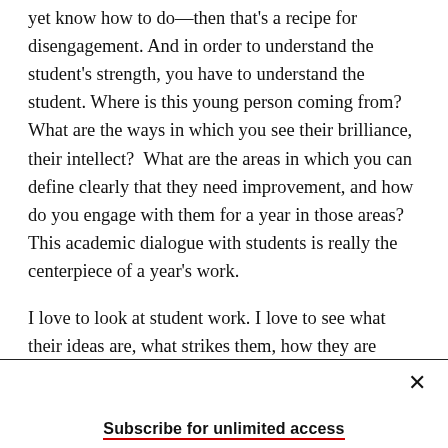yet know how to do—then that's a recipe for disengagement. And in order to understand the student's strength, you have to understand the student. Where is this young person coming from? What are the ways in which you see their brilliance, their intellect?  What are the areas in which you can define clearly that they need improvement, and how do you engage with them for a year in those areas? This academic dialogue with students is really the centerpiece of a year's work.

I love to look at student work. I love to see what their ideas are, what strikes them, how they are
Subscribe for unlimited access